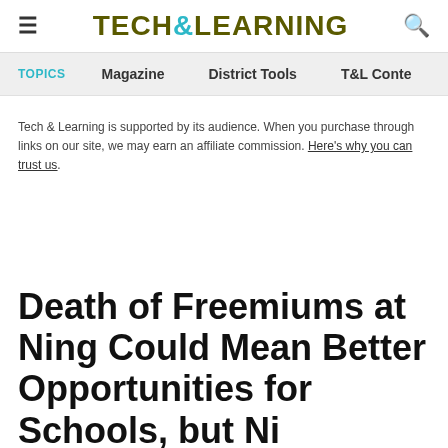≡  TECH&LEARNING  🔍
TOPICS   Magazine   District Tools   T&L Conte
Tech & Learning is supported by its audience. When you purchase through links on our site, we may earn an affiliate commission. Here's why you can trust us.
Death of Freemiums at Ning Could Mean Better Opportunities for Schools, but Nice...